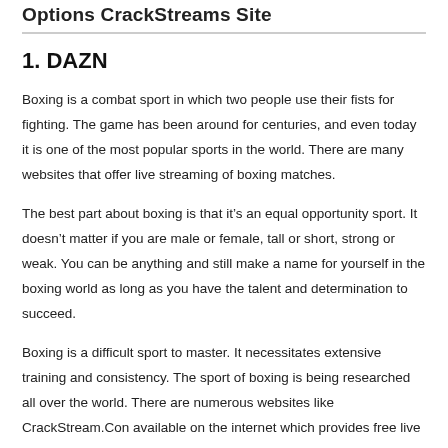Options CrackStreams Site
1. DAZN
Boxing is a combat sport in which two people use their fists for fighting. The game has been around for centuries, and even today it is one of the most popular sports in the world. There are many websites that offer live streaming of boxing matches.
The best part about boxing is that it’s an equal opportunity sport. It doesn’t matter if you are male or female, tall or short, strong or weak. You can be anything and still make a name for yourself in the boxing world as long as you have the talent and determination to succeed.
Boxing is a difficult sport to master. It necessitates extensive training and consistency. The sport of boxing is being researched all over the world. There are numerous websites like CrackStream.Con available on the internet which provides free live